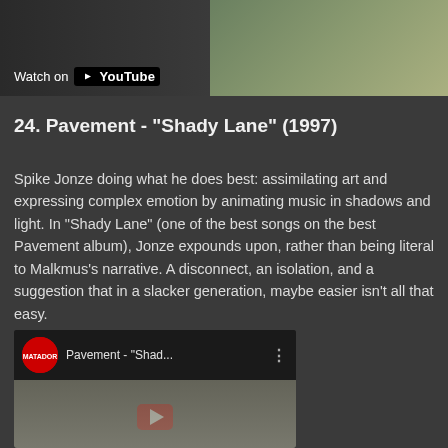[Figure (screenshot): Top portion of a YouTube video thumbnail showing a person in dark clothing, with a 'Watch on YouTube' badge in the lower left. Right side shows another partial image.]
24. Pavement - "Shady Lane" (1997)
Spike Jonze doing what he does best: assimilating art and expressing complex emotion by animating music in shadows and light. In "Shady Lane" (one of the best songs on the best Pavement album), Jonze expounds upon, rather than being literal to Malkmus's narrative. A disconnect, an isolation, and a suggestion that in a slacker generation, maybe easier isn't all that easy.
[Figure (screenshot): YouTube video embed showing Pavement - 'Shad...' with Matador Records logo, three-dot menu, and video frame with red play button showing a gas station scene.]